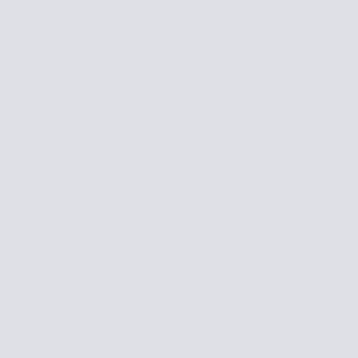current market price. The cost is likely to construction materials and land will most
As a result, financing the construction of t major challenge, feel people concerned.
Even though some experts are doubtful w about economic benefits to the country, th these throughways will be the mainstay o
Mentioning that many countries and regio the benefit of well-planned-out road infras the foundation of Bangladesh's economic to be laid now taking lessons from other p
As the expressways would allow long-dist bypassing Dhaka's traffic congestion, it w well, they further observe.
The first expressway to connect the north from Sylhet's Tamabil land port to Cox's B and Matarbari seaports.
Another expressway from Mymensingh's in Kotalipara, Gopalganj – one will go to M construction of the second Padma Bridge